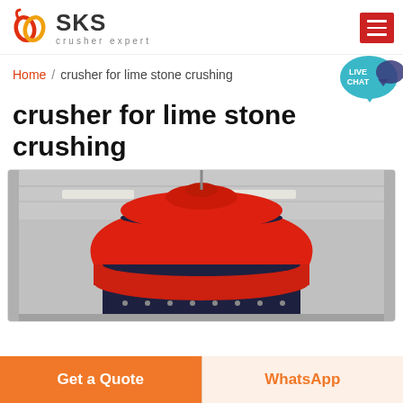SKS crusher expert
Home / crusher for lime stone crushing
crusher for lime stone crushing
[Figure (photo): Large red and black cone crusher machine photographed inside an industrial factory/warehouse with metal roof structure visible.]
Get a Quote   WhatsApp